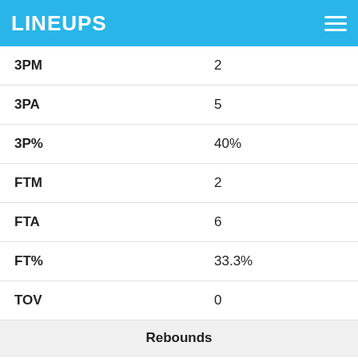LINEUPS
| Stat | Value |
| --- | --- |
| 3PM | 2 |
| 3PA | 5 |
| 3P% | 40% |
| FTM | 2 |
| FTA | 6 |
| FT% | 33.3% |
| TOV | 0 |
| Rebounds |  |
| TRB | 5 |
| ORB | 1 |
| DRB | 4 |
| Defense |  |
| STL | 0 |